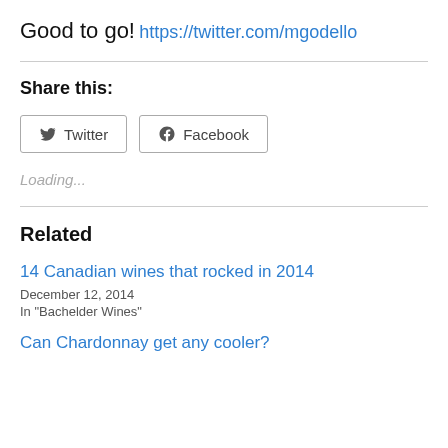Good to go!
https://twitter.com/mgodello
Share this:
Twitter  Facebook
Loading...
Related
14 Canadian wines that rocked in 2014
December 12, 2014
In "Bachelder Wines"
Can Chardonnay get any cooler?